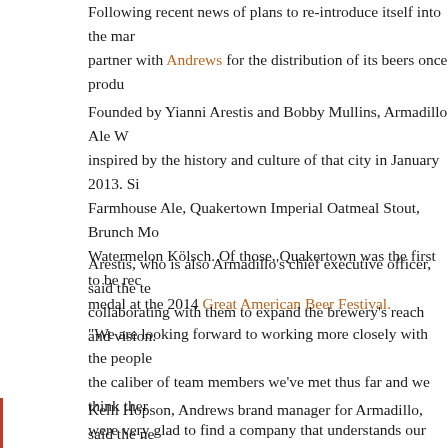Following recent news of plans to re-introduce itself into the market, partner with Andrews for the distribution of its beers once produced.
Founded by Yianni Arestis and Bobby Mullins, Armadillo Ale Works inspired by the history and culture of that city in January 2013. Since then, Farmhouse Ale, Quakertown Imperial Oatmeal Stout, Brunch Mo... Watermelon Kölsch. Of those, Quakertown was the first to be recognized, medal at the 2014 Great American Beer Festival.
Arestis, who is also Armadillo's chief executive officer, said the team collaborating with them to expand the brewery's reach and vision.
"We are looking forward to working more closely with the people the caliber of team members we've met thus far and we think there were very glad to find a company that understands our vision and goals."
Kelli Hopson, Andrews brand manager for Armadillo, said the new great local beers with Dallas-Fort Worth craft beer lovers.